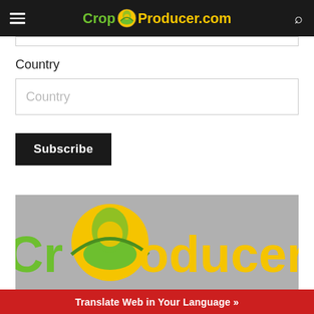CropProducer.com
Country
Country (input placeholder)
Subscribe
[Figure (logo): CropProducer.com logo on gray background banner]
Translate Web in Your Language »